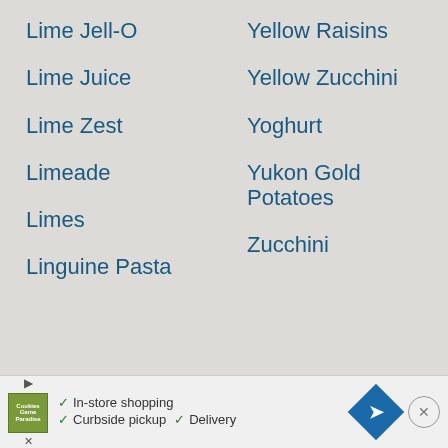Lime Jell-O
Lime Juice
Lime Zest
Limeade
Limes
Linguine Pasta
Yellow Raisins
Yellow Zucchini
Yoghurt
Yukon Gold Potatoes
Zucchini
In-store shopping  Curbside pickup  Delivery